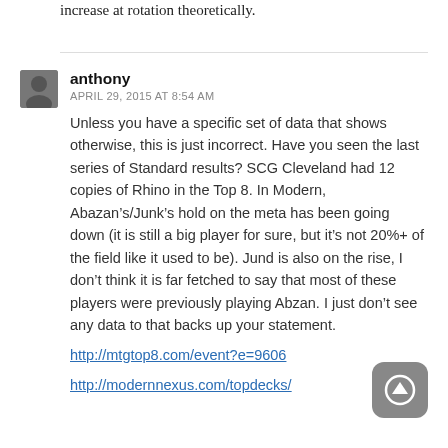increase at rotation theoretically.
anthony
APRIL 29, 2015 AT 8:54 AM
Unless you have a specific set of data that shows otherwise, this is just incorrect. Have you seen the last series of Standard results? SCG Cleveland had 12 copies of Rhino in the Top 8. In Modern, Abazan’s/Junk’s hold on the meta has been going down (it is still a big player for sure, but it’s not 20%+ of the field like it used to be). Jund is also on the rise, I don’t think it is far fetched to say that most of these players were previously playing Abzan. I just don’t see any data to that backs up your statement.
http://mtgtop8.com/event?e=9606
http://modernnexus.com/topdecks/